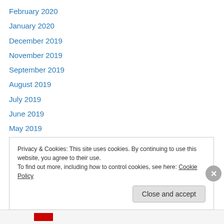February 2020
January 2020
December 2019
November 2019
September 2019
August 2019
July 2019
June 2019
May 2019
January 2019
December 2018
July 2018
June 2018
Privacy & Cookies: This site uses cookies. By continuing to use this website, you agree to their use.
To find out more, including how to control cookies, see here: Cookie Policy
Close and accept